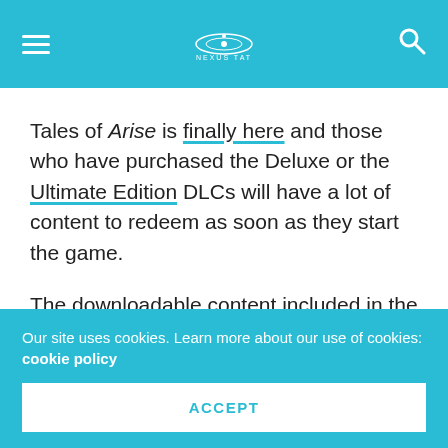≡  [logo]  🔍
Tales of Arise is finally here and those who have purchased the Deluxe or the Ultimate Edition DLCs will have a lot of content to redeem as soon as they start the game.
The downloadable content included in the Deluxe or Ultimate Edition will surely help players get an advantage at early parts of the game, including costumes that feature titles, and of course, recipes to get the buffs that are needed to stay competitive in
Our site uses cookies. Learn more about our use of cookies: cookie policy
ACCEPT